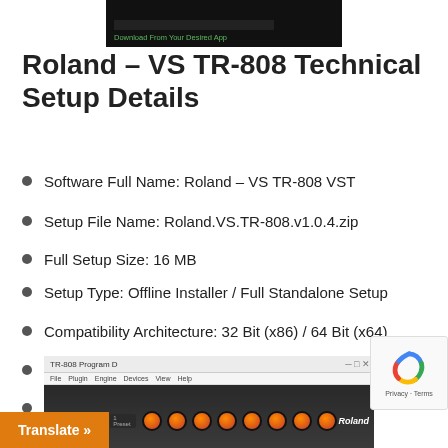[Figure (screenshot): Dark top banner with green download text]
Roland – VS TR-808 Technical Setup Details
Software Full Name: Roland – VS TR-808 VST
Setup File Name: Roland.VS.TR-808.v1.0.4.zip
Full Setup Size: 16 MB
Setup Type: Offline Installer / Full Standalone Setup
Compatibility Architecture: 32 Bit (x86) / 64 Bit (x64)
Latest Version Release Added On: 30th May 2019
Developers: Rolandcloud
[Figure (screenshot): TR-808 drum machine plugin interface screenshot showing knobs and Roland branding]
Translate »